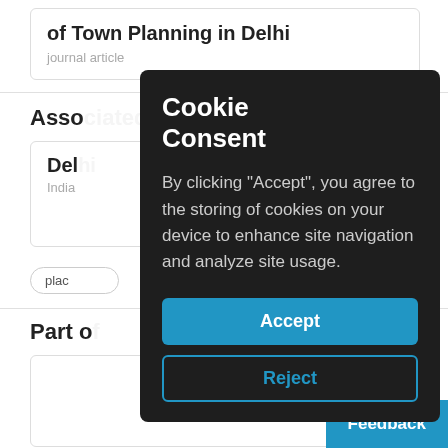of Town Planning in Delhi
journal article
Assoc
Del
India
[Figure (photo): Circular thumbnail photo of an ornate Indian architectural gateway/gate structure with arched entrance]
place
Part o
[Figure (screenshot): Cookie consent popup overlay with dark background showing title 'Cookie Consent', body text about accepting cookies, and Accept/Reject buttons]
Feedback